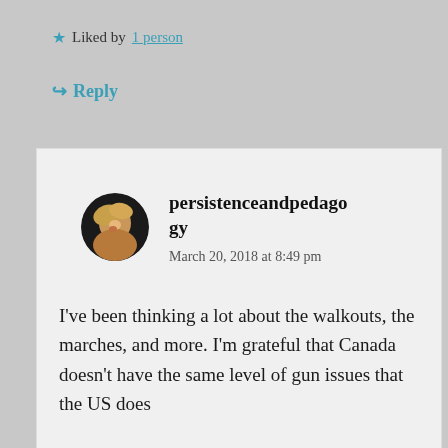★ Liked by 1 person
↪ Reply
persistenceandpedagogy
March 20, 2018 at 8:49 pm
I've been thinking a lot about the walkouts, the marches, and more. I'm grateful that Canada doesn't have the same level of gun issues that the US does